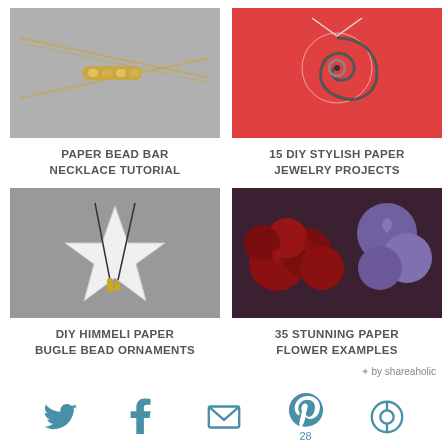[Figure (photo): Paper bead bar necklace on grey background]
PAPER BEAD BAR NECKLACE TUTORIAL
[Figure (photo): DIY stylish paper jewelry - swirled paper pendant on red background]
15 DIY STYLISH PAPER JEWELRY PROJECTS
[Figure (photo): DIY Himmeli paper bugle bead star ornament on grey background]
DIY HIMMELI PAPER BUGLE BEAD ORNAMENTS
[Figure (photo): 35 stunning paper flower examples - dark red and purple paper roses]
35 STUNNING PAPER FLOWER EXAMPLES
✦ by shareaholic